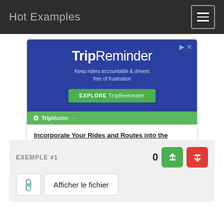Hot Examples
[Figure (screenshot): TripReminder advertisement banner with blue background, green TripMaster strip, headline and contact link]
EXEMPLE #1
0
Afficher le fichier